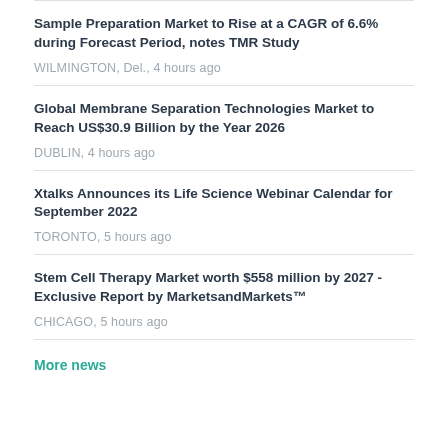Sample Preparation Market to Rise at a CAGR of 6.6% during Forecast Period, notes TMR Study
WILMINGTON, Del., 4 hours ago
Global Membrane Separation Technologies Market to Reach US$30.9 Billion by the Year 2026
DUBLIN, 4 hours ago
Xtalks Announces its Life Science Webinar Calendar for September 2022
TORONTO, 5 hours ago
Stem Cell Therapy Market worth $558 million by 2027 - Exclusive Report by MarketsandMarkets™
CHICAGO, 5 hours ago
More news